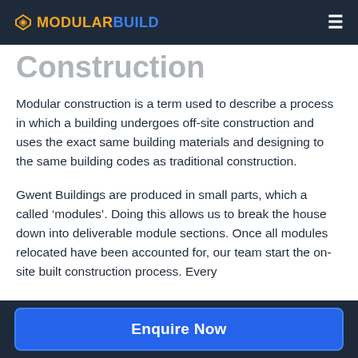MODULARBUILD
Construction
Modular construction is a term used to describe a process in which a building undergoes off-site construction and uses the exact same building materials and designing to the same building codes as traditional construction.
Gwent Buildings are produced in small parts, which a called ‘modules’. Doing this allows us to break the house down into deliverable module sections. Once all modules relocated have been accounted for, our team start the on-site built construction process. Every
Enquire Now